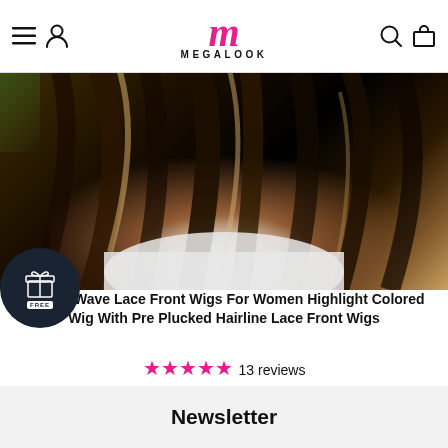MEGALOOK
[Figure (photo): Woman with long wavy highlight colored hair wig, dark brown with blonde highlights, wearing a white t-shirt]
4 Body Wave Lace Front Wigs For Women Highlight Colored Wig With Pre Plucked Hairline Lace Front Wigs
★★★★★ 13 reviews
$209.00 $312.50
Newsletter